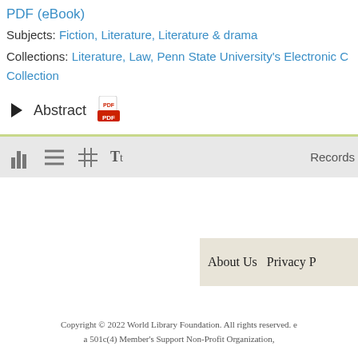PDF (eBook)
Subjects: Fiction, Literature, Literature & drama
Collections: Literature, Law, Penn State University's Electronic Collection
Abstract
[Figure (screenshot): Toolbar with view icons (bar chart, list, grid, text) and Records label on right]
[Figure (other): Footer bar with About Us and Privacy P links on beige background]
Copyright © 2022 World Library Foundation. All rights reserved. e
a 501c(4) Member's Support Non-Profit Organization,